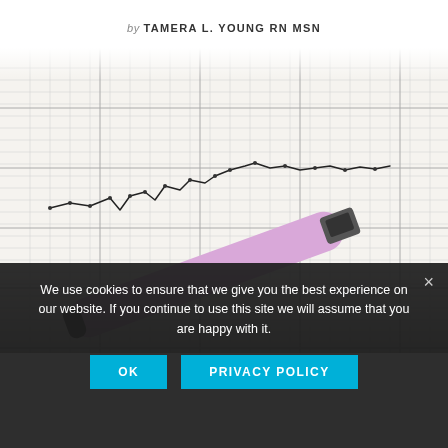by TAMERA L. YOUNG RN MSN
[Figure (photo): A pink/lavender digital thermometer resting on a basal body temperature chart with a hand-drawn temperature curve plotted on grid paper]
We use cookies to ensure that we give you the best experience on our website. If you continue to use this site we will assume that you are happy with it.
OK   PRIVACY POLICY